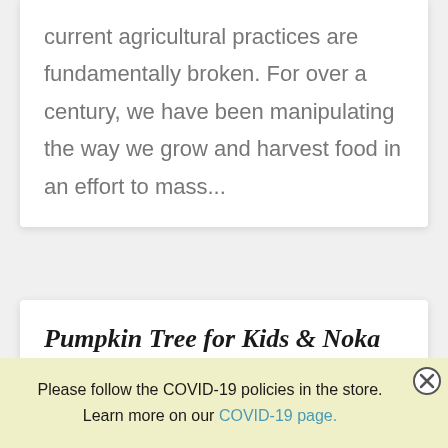current agricultural practices are fundamentally broken. For over a century, we have been manipulating the way we grow and harvest food in an effort to mass...
Pumpkin Tree for Kids & Noka for Adults
Jul 16, 2021 | Canned/Packaged
Please follow the COVID-19 policies in the store. Learn more on our COVID-19 page.